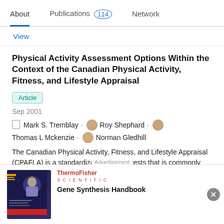About   Publications 114   Network
View
Physical Activity Assessment Options Within the Context of the Canadian Physical Activity, Fitness, and Lifestyle Appraisal
Article
Sep 2001
Mark S. Tremblay · Roy Shephard · Thomas L Mckenzie · Norman Gledhill
The Canadian Physical Activity, Fitness, and Lifestyle Appraisal (CPAFLA) is a standardized battery of tests that is commonly used to assess asymptomatic individuals. This paper reviews evidence concerning the reliability, validity, and utility of the
[Figure (infographic): Advertisement banner: ThermoFisher Scientific - Gene Synthesis Handbook with dark blue background ad image on the left and text on the right]